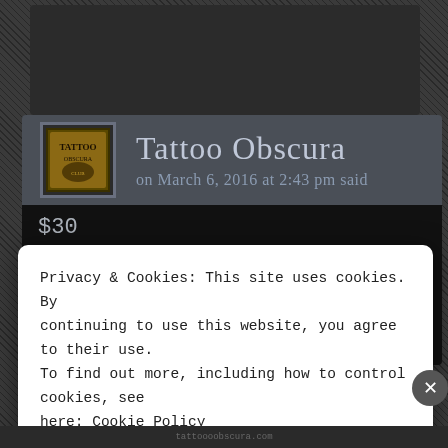Tattoo Obscura
on March 6, 2016 at 2:43 pm said
$30
Privacy & Cookies: This site uses cookies. By continuing to use this website, you agree to their use. To find out more, including how to control cookies, see here: Cookie Policy
Close and accept